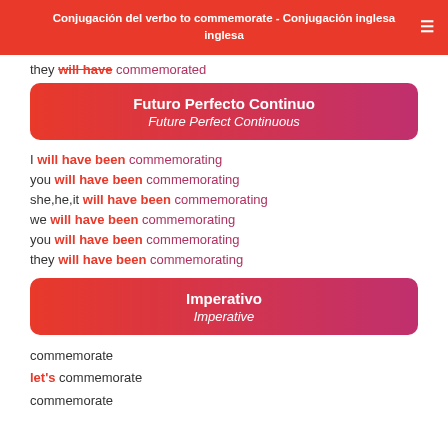Conjugación del verbo to commemorate - Conjugación inglesa
they will have commemorated
Futuro Perfecto Continuo / Future Perfect Continuous
I will have been commemorating
you will have been commemorating
she,he,it will have been commemorating
we will have been commemorating
you will have been commemorating
they will have been commemorating
Imperativo / Imperative
commemorate
let's commemorate
commemorate